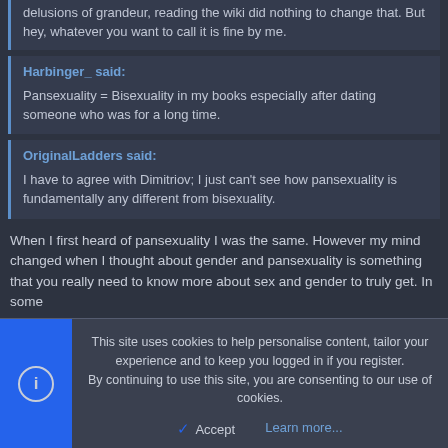delusions of grandeur, reading the wiki did nothing to change that. But hey, whatever you want to call it is fine by me.
Harbinger_ said:

Pansexuality = Bisexuality in my books especially after dating someone who was for a long time.
OriginalLadders said:

I have to agree with Dimitriov; I just can't see how pansexuality is fundamentally any different from bisexuality.
When I first heard of pansexuality I was the same. However my mind changed when I thought about gender and pansexuality is something that you really need to know more about sex and gender to truly get. In some
This site uses cookies to help personalise content, tailor your experience and to keep you logged in if you register.
By continuing to use this site, you are consenting to our use of cookies.
Accept
Learn more...